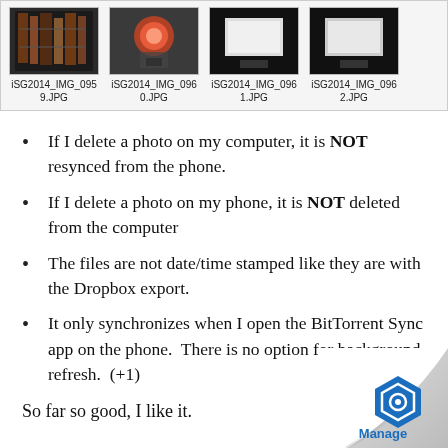[Figure (screenshot): File browser strip showing four image thumbnails: iSG2014_IMG_0959.JPG, iSG2014_IMG_0960.JPG, iSG2014_IMG_0961.JPG, iSG2014_IMG_0962.JPG]
If I delete a photo on my computer, it is NOT resynced from the phone.
If I delete a photo on my phone, it is NOT deleted from the computer
The files are not date/time stamped like they are with the Dropbox export.
It only synchronizes when I open the BitTorrent Sync app on the phone.  There is no option for background refresh.  (+1)
So far so good, I like it.
[Figure (logo): Manage logo with blue hexagon icon in bottom right corner with page curl effect]